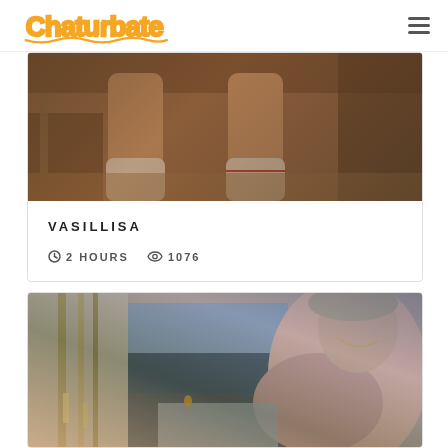Chaturbate
[Figure (photo): Close-up photo of a person's legs wearing white socks, sitting at a desk, dark background]
VASILLISA
2 HOURS  1076
[Figure (photo): Close-up photo of a person from behind, room interior visible in background with bamboo poles and candles]